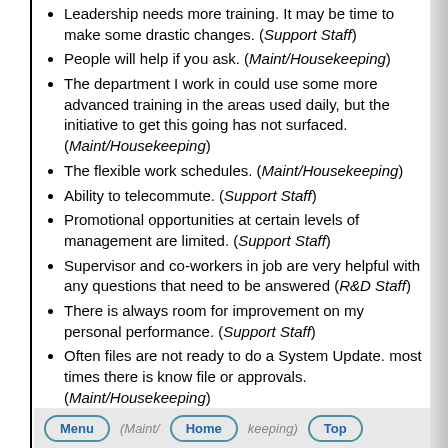Leadership needs more training. It may be time to make some drastic changes. (Support Staff)
People will help if you ask. (Maint/Housekeeping)
The department I work in could use some more advanced training in the areas used daily, but the initiative to get this going has not surfaced. (Maint/Housekeeping)
The flexible work schedules. (Maint/Housekeeping)
Ability to telecommute. (Support Staff)
Promotional opportunities at certain levels of management are limited. (Support Staff)
Supervisor and co-workers in job are very helpful with any questions that need to be answered (R&D Staff)
There is always room for improvement on my personal performance. (Support Staff)
Often files are not ready to do a System Update. most times there is know file or approvals. (Maint/Housekeeping)
By moving up within the company it has given a better understanding of how things work at [Company]. (Support Staff)
I do not feel objectives are clearly stated and that there is a lack of communication. I am not given clear instructions to allow me to complete a job from start to finish without having to bug my supervisor for further details. (Support Staff)
Give long time employees more time off. (Maint/Housekeeping)
I always feel that I have the support of my